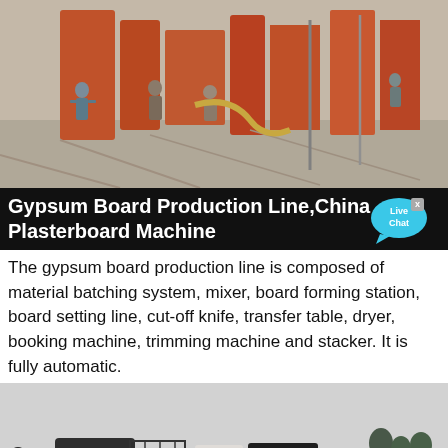[Figure (photo): Workers operating industrial machinery in a factory setting with orange equipment and pipes]
Gypsum Board Production Line,China Plasterboard Machine
The gypsum board production line is composed of material batching system, mixer, board forming station, board setting line, cut-off knife, transfer table, dryer, booking machine, trimming machine and stacker. It is fully automatic.
[Figure (photo): Heavy industrial mobile crushing machinery parked outdoors on gravel ground with overcast sky]